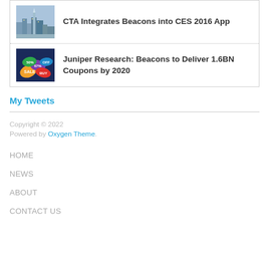[Figure (photo): Thumbnail photo of a city skyline (Las Vegas)]
CTA Integrates Beacons into CES 2016 App
[Figure (photo): Thumbnail photo of colorful discount/coupon tags]
Juniper Research: Beacons to Deliver 1.6BN Coupons by 2020
My Tweets
Copyright © 2022
Powered by Oxygen Theme.
HOME
NEWS
ABOUT
CONTACT US